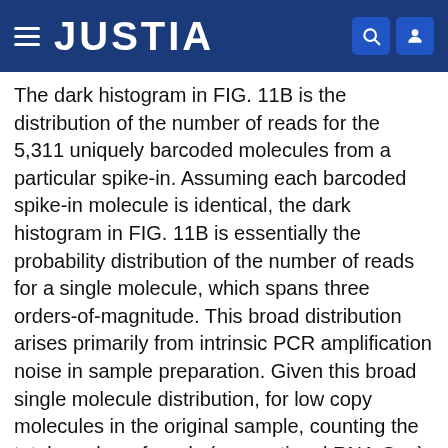JUSTIA
The dark histogram in FIG. 11B is the distribution of the number of reads for the 5,311 uniquely barcoded molecules from a particular spike-in. Assuming each barcoded spike-in molecule is identical, the dark histogram in FIG. 11B is essentially the probability distribution of the number of reads for a single molecule, which spans three orders-of-magnitude. This broad distribution arises primarily from intrinsic PCR amplification noise in sample preparation. Given this broad single molecule distribution, for low copy molecules in the original sample, counting the total number of reads (conventional RNA-Seq) would lead to inaccuracies. On the other hand, this problem can be circumvented if one counts the number of different barcodes (integrated area of the histogram) using the digital RNA-Seq approach, yielding accurate quantification with single copy resolution. The two